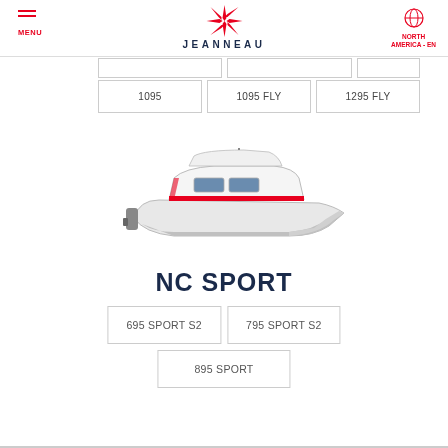MENU | JEANNEAU | NORTH AMERICA - EN
[Figure (logo): Jeanneau star compass logo in red with JEANNEAU text below]
1095
1095 FLY
1295 FLY
[Figure (illustration): NC Sport boat illustration, white and red motorboat viewed from the side]
NC SPORT
695 SPORT S2
795 SPORT S2
895 SPORT